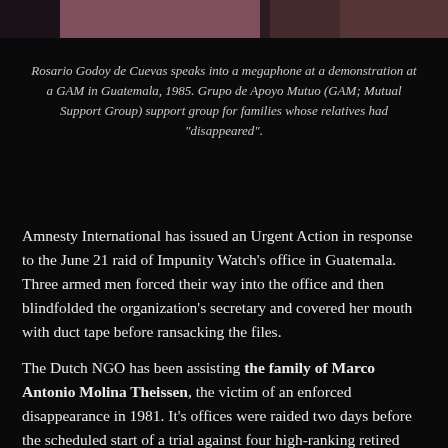[Figure (photo): Photo of Rosario Godoy de Cuevas speaking into a megaphone at a GAM demonstration in Guatemala, 1985. Partial view of two people.]
Rosario Godoy de Cuevas speaks into a megaphone at a demonstration at a GAM in Guatemala, 1985. Grupo de Apoyo Mutuo (GAM; Mutual Support Group) support group for families whose relatives had "disappeared".
Amnesty International has issued an Urgent Action in response to the June 21 raid of Impunity Watch's office in Guatemala. Three armed men forced their way into the office and then blindfolded the organization's secretary and covered her mouth with duct tape before ransacking the files.
The Dutch NGO has been assisting the family of Marco Antonio Molina Theissen, the victim of an enforced disappearance in 1981. It's offices were raided two days before the scheduled start of a trial against four high-ranking retired military officers for this crime.